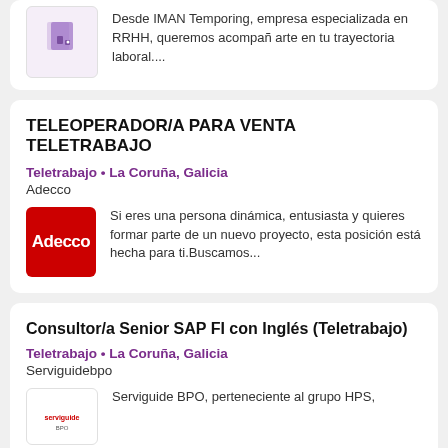[Figure (logo): IMAN Temporing company logo - purple building icon]
Desde IMAN Temporing, empresa especializada en RRHH, queremos acompañarte en tu trayectoria laboral....
TELEOPERADOR/A PARA VENTA TELETRABAJO
Teletrabajo • La Coruña, Galicia
Adecco
[Figure (logo): Adecco logo - red square with white Adecco text]
Si eres una persona dinámica, entusiasta y quieres formar parte de un nuevo proyecto, esta posición está hecha para ti.Buscamos...
Consultor/a Senior SAP FI con Inglés (Teletrabajo)
Teletrabajo • La Coruña, Galicia
Serviguidebpo
[Figure (logo): Serviguide BPO company logo]
Serviguide BPO, perteneciente al grupo HPS,